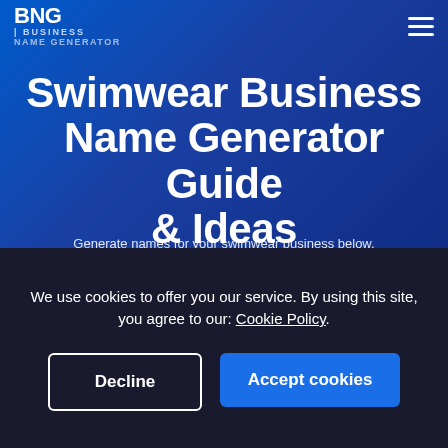BNG | BUSINESS NAME GENERATOR
Swimwear Business Name Generator Guide & Ideas
Generate names for your swimwear business below.
Popular Search: Fashion | Fitness | Gaming
Ex. Tech, Marketing, Agency
We use cookies to offer you our service. By using this site, you agree to our: Cookie Policy.
Decline
Accept cookies